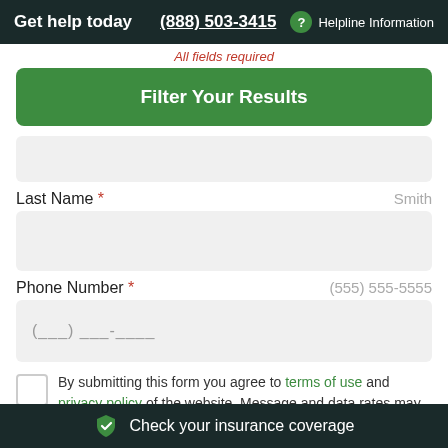Get help today  (888) 503-3415  ? Helpline Information
All fields required
Filter Your Results
Last Name *  Smith
Phone Number *  (555) 555-5555
By submitting this form you agree to terms of use and privacy policy of the website. Message and data rates may apply. You
Check your insurance coverage